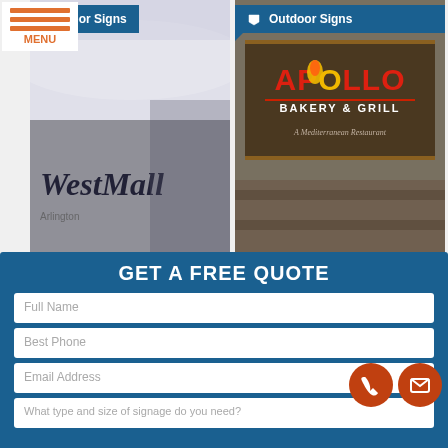[Figure (photo): Indoor signage photo showing WestMall letters on wall]
[Figure (photo): Outdoor sign for Apollo Bakery & Grill restaurant]
Outdoor Signs
Outdoor Signs
Vehicle Wraps
Custom Signs
GET A FREE QUOTE
Full Name
Best Phone
Email Address
What type and size of signage do you need?